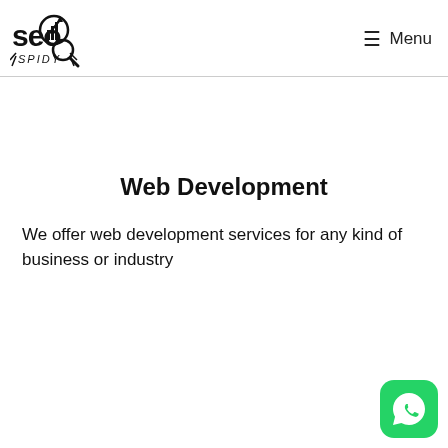SEO SPIDY | Menu
Web Development
We offer web development services for any kind of business or industry
[Figure (logo): WhatsApp contact button, green rounded square with phone handset icon]